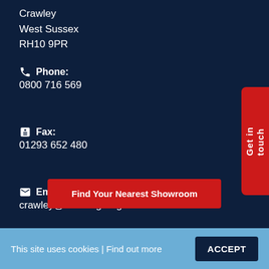Crawley
West Sussex
RH10 9PR
Phone: 0800 716 569
Fax: 01293 652 480
Email: crawley@accessgaragedoors.com
Find Your Nearest Showroom
This site uses cookies | Find out more
ACCEPT